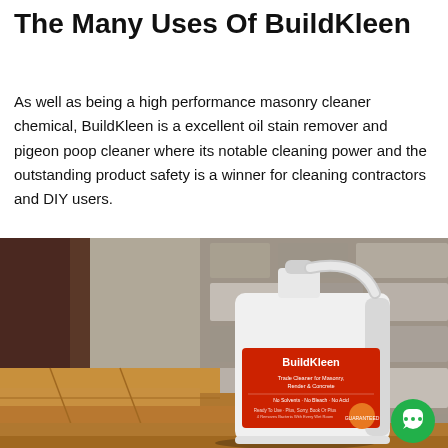The Many Uses Of BuildKleen
As well as being a high performance masonry cleaner chemical, BuildKleen is a excellent oil stain remover and pigeon poop cleaner where its notable cleaning power and the outstanding product safety is a winner for cleaning contractors and DIY users.
[Figure (photo): Photo of a white 5-litre plastic Jerry can bottle of BuildKleen Trade Cleaner for Masonry, Render & Concrete, placed on rustic stone steps with a stone wall in the background. The label is red with white text reading BuildKleen. A green chat bubble icon is visible in the bottom right corner.]